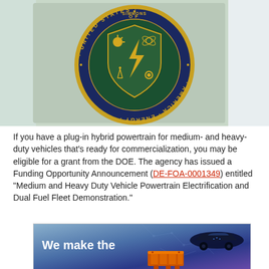[Figure (photo): Close-up photograph of the U.S. Department of Energy seal/medallion with green and gold colors, showing a shield with lightning bolt and energy symbols, with text reading 'UNITED STATES OF AMERICA' and 'ENERGY' around the border]
If you have a plug-in hybrid powertrain for medium- and heavy-duty vehicles that's ready for commercialization, you may be eligible for a grant from the DOE. The agency has issued a Funding Opportunity Announcement (DE-FOA-0001349) entitled "Medium and Heavy Duty Vehicle Powertrain Electrification and Dual Fuel Fleet Demonstration."
[Figure (photo): Advertisement image with blue/purple gradient background showing text 'We make the' in white, with a dark car silhouette in upper right and an orange engine/powertrain component in the lower portion]